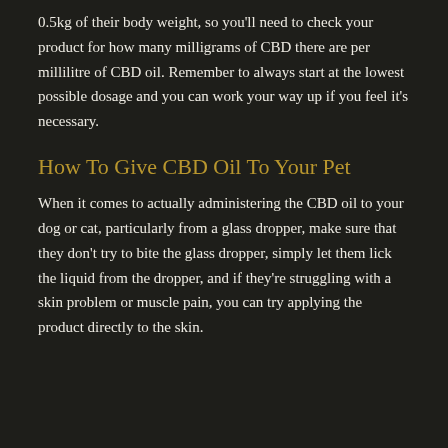0.5kg of their body weight, so you'll need to check your product for how many milligrams of CBD there are per millilitre of CBD oil. Remember to always start at the lowest possible dosage and you can work your way up if you feel it's necessary.
How To Give CBD Oil To Your Pet
When it comes to actually administering the CBD oil to your dog or cat, particularly from a glass dropper, make sure that they don't try to bite the glass dropper, simply let them lick the liquid from the dropper, and if they're struggling with a skin problem or muscle pain, you can try applying the product directly to the skin.